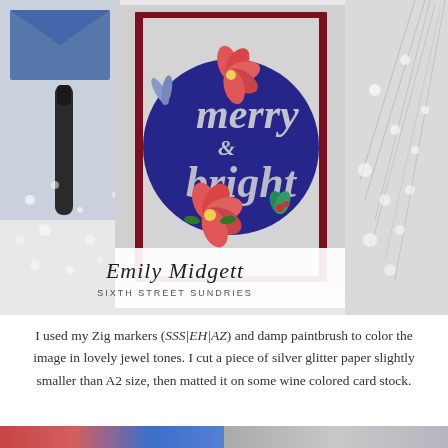[Figure (photo): A Christmas card featuring a circular navy blue ornament with silver glitter 'merry & bright' lettering and colorful poinsettia flowers, set on a silver glitter background with a wine-colored mat. The scene includes a blue envelope, a dark pen, and silver decorative branches with water droplets on a marble surface. Below the card image are the creator credits: 'Emily Midgett' in script and 'SIXTH STREET SUNDRIES' in small caps.]
I used my Zig markers (SSS|EH|AZ) and damp paintbrush to color the image in lovely jewel tones. I cut a piece of silver glitter paper slightly smaller than A2 size, then matted it on some wine colored card stock.